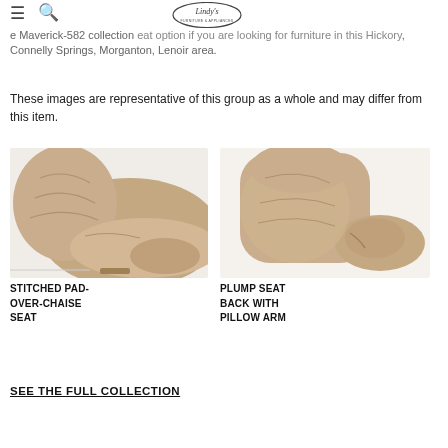Lindy's Furniture
e Maverick-582 collection seat option if you are looking for furniture in the Hickory, Connelly Springs, Morganton, Lenoir area.
These images are representative of this group as a whole and may differ from this item.
[Figure (photo): Close-up photo of a tan/beige fabric recliner showing the stitched pad-over-chaise seat portion]
STITCHED PAD-OVER-CHAISE SEAT
[Figure (photo): Close-up photo of a tan/beige fabric recliner showing the plump seat back with pillow arm]
PLUMP SEAT BACK WITH PILLOW ARM
SEE THE FULL COLLECTION